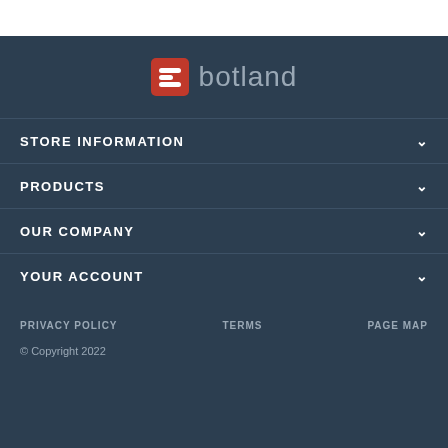[Figure (logo): Botland logo with red square icon and grey text]
STORE INFORMATION
PRODUCTS
OUR COMPANY
YOUR ACCOUNT
PRIVACY POLICY   TERMS   PAGE MAP
© Copyright 2022